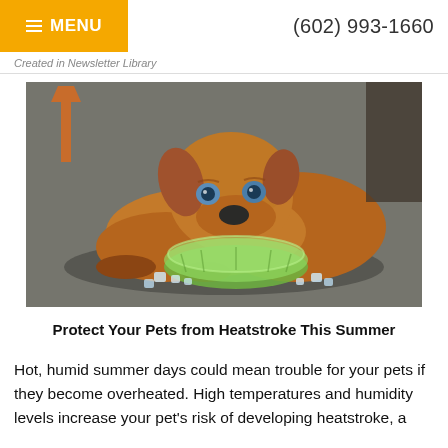≡ MENU   (602) 993-1660
Created in Newsletter Library
[Figure (photo): A brown puppy lying on pavement with its chin resting on a green glass bowl filled with water and ice cubes scattered around it.]
Protect Your Pets from Heatstroke This Summer
Hot, humid summer days could mean trouble for your pets if they become overheated. High temperatures and humidity levels increase your pet's risk of developing heatstroke, a